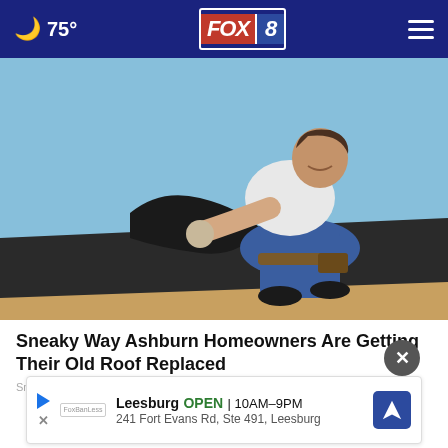FOX 8 — 75°
[Figure (photo): A worker crouching on a rooftop removing or replacing dark shingles/roofing material, wearing a white t-shirt, jeans, and work gloves, against a blue sky background.]
Sneaky Way Ashburn Homeowners Are Getting Their Old Roof Replaced
Smart...
Leesburg  OPEN  10AM–9PM
241 Fort Evans Rd, Ste 491, Leesburg